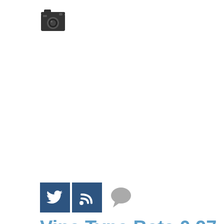[Figure (logo): Small camera icon, black and white, classic retro camera style]
[Figure (infographic): Three social media icons: Twitter bird (dark blue square), RSS feed (dark blue square), and a speech bubble comment icon (gray)]
Vine Type Beta 0.97